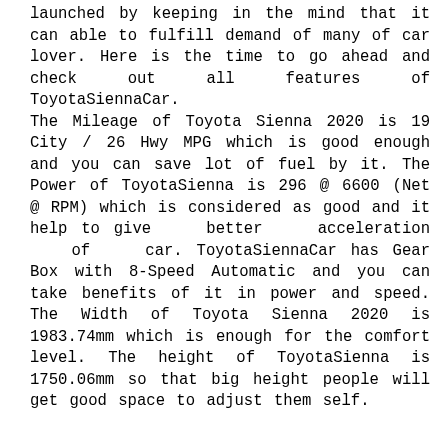launched by keeping in the mind that it can able to fulfill demand of many of car lover. Here is the time to go ahead and check out all features of ToyotaSiennaCar. The Mileage of Toyota Sienna 2020 is 19 City / 26 Hwy MPG which is good enough and you can save lot of fuel by it. The Power of ToyotaSienna is 296 @ 6600 (Net @ RPM) which is considered as good and it help to give better acceleration of car. ToyotaSiennaCar has Gear Box with 8-Speed Automatic and you can take benefits of it in power and speed. The Width of Toyota Sienna 2020 is 1983.74mm which is enough for the comfort level. The height of ToyotaSienna is 1750.06mm so that big height people will get good space to adjust them self.